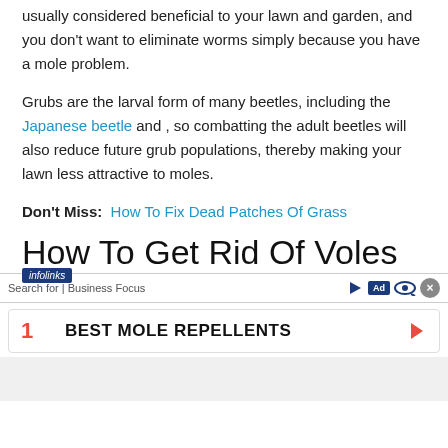usually considered beneficial to your lawn and garden, and you don't want to eliminate worms simply because you have a mole problem.
Grubs are the larval form of many beetles, including the Japanese beetle and , so combatting the adult beetles will also reduce future grub populations, thereby making your lawn less attractive to moles.
Don't Miss:  How To Fix Dead Patches Of Grass
How To Get Rid Of Voles
[Figure (screenshot): Infolinks advertisement bar showing 'Search for | Business Focus' with ad controls and close button]
[Figure (screenshot): Advertisement result row: number 1, text 'BEST MOLE REPELLENTS' with red arrow]
[Figure (screenshot): Gray advertisement bottom area]